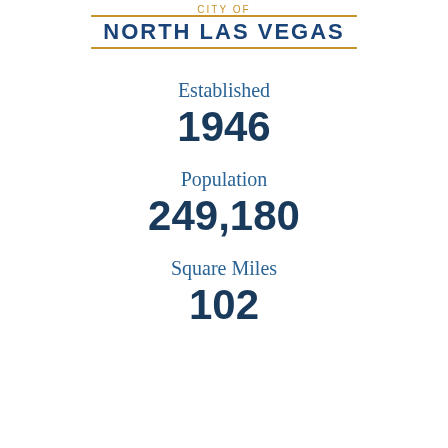CITY OF NORTH LAS VEGAS
Established
1946
Population
249,180
Square Miles
102